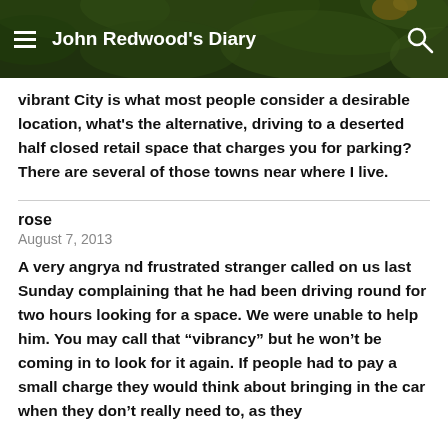John Redwood's Diary
vibrant City is what most people consider a desirable location, what's the alternative, driving to a deserted half closed retail space that charges you for parking? There are several of those towns near where I live.
rose
August 7, 2013
A very angrya nd frustrated stranger called on us last Sunday complaining that he had been driving round for two hours looking for a space. We were unable to help him. You may call that “vibrancy” but he won’t be coming in to look for it again. If people had to pay a small charge they would think about bringing in the car when they don’t really need to, as they